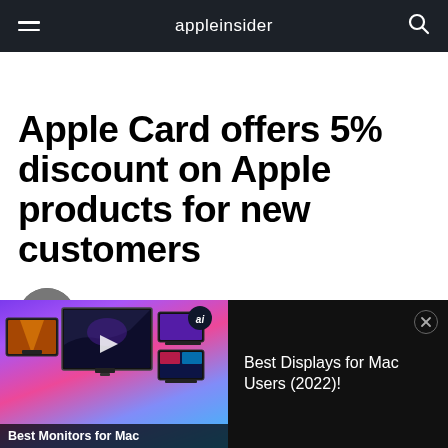appleinsider
Apple Card offers 5% discount on Apple products for new customers
Malcolm Owen | Dec 26, 2021
[Figure (screenshot): Advertisement banner showing monitors/displays with text 'Best Monitors for Mac' and 'Best Displays for Mac Users (2022)!' on a dark background with colorful gradient image]